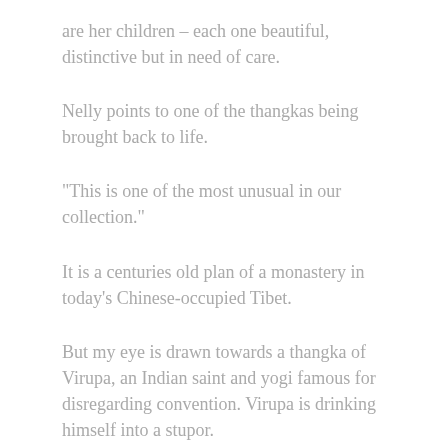are her children – each one beautiful, distinctive but in need of care.
Nelly points to one of the thangkas being brought back to life.
"This is one of the most unusual in our collection."
It is a centuries old plan of a monastery in today's Chinese-occupied Tibet.
But my eye is drawn towards a thangka of Virupa, an Indian saint and yogi famous for disregarding convention. Virupa is drinking himself into a stupor.
Nelly recounts the story.